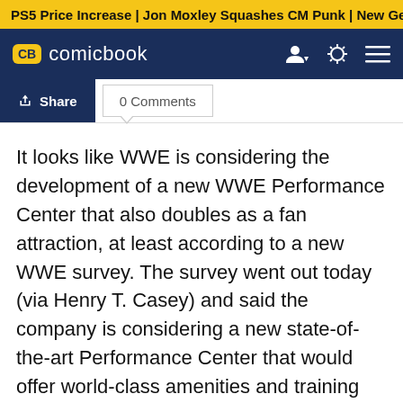PS5 Price Increase | Jon Moxley Squashes CM Punk | New Ge
CB comicbook
Share   0 Comments
It looks like WWE is considering the development of a new WWE Performance Center that also doubles as a fan attraction, at least according to a new WWE survey. The survey went out today (via Henry T. Casey) and said the company is considering a new state-of-the-art Performance Center that would offer world-class amenities and training facilities for WWE superstars, athletes, and top-level talent across the world, but it also said it would attract fans to a new and unique WWE themed attraction and tour. Five